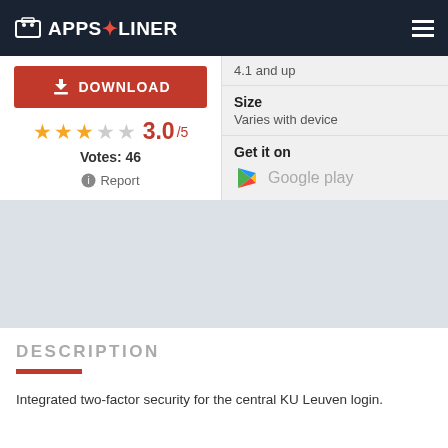APPS LINER
4.1 and up
[Figure (other): Download button with icon]
3.0/5
Votes: 46
Report
Size
Varies with device
Get it on
Google play
[Figure (other): Gray advertisement band]
DESCRIPTION
Integrated two-factor security for the central KU Leuven login.